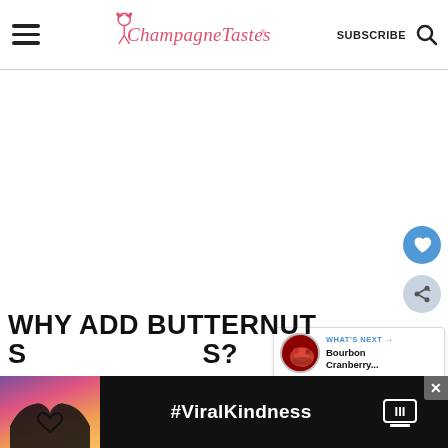ChampagneTastes® | SUBSCRIBE
[Figure (other): Large white/blank main content area of the ChampagneTastes food blog page]
[Figure (other): Blue circular heart/favorite FAB button]
[Figure (other): Gray circular share FAB button]
[Figure (other): What's Next card with circular thumbnail of a bowl of red berries and text: WHAT'S NEXT → Bourbon Cranberry...]
WHY ADD BUTTERNUT S...
[Figure (photo): Advertisement banner at bottom: dark background with heart-hands silhouette image on left, #ViralKindness text, logo on right, and X close button]